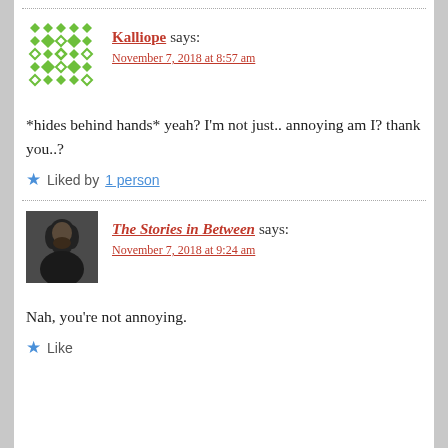Kalliope says: November 7, 2018 at 8:57 am
*hides behind hands* yeah? I’m not just.. annoying am I? thank you..?
Liked by 1 person
The Stories in Between says: November 7, 2018 at 9:24 am
Nah, you’re not annoying.
Like